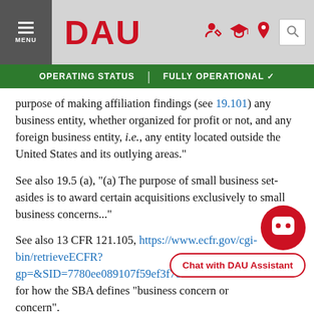DAU — MENU | OPERATING STATUS | FULLY OPERATIONAL
purpose of making affiliation findings (see 19.101) any business entity, whether organized for profit or not, and any foreign business entity, i.e., any entity located outside the United States and its outlying areas."
See also 19.5 (a), "(a) The purpose of small business set-asides is to award certain acquisitions exclusively to small business concerns..."
See also 13 CFR 121.105, https://www.ecfr.gov/cgi-bin/retrieveECFR?gp=&SID=7780ee089107f59ef3f78b938e22... for how the SBA defines "business concern or concern".
2. FAR 19.000 (b) states, "This part, except or for